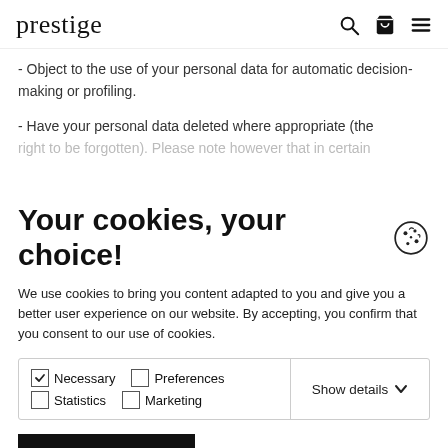prestige
- Object to the use of your personal data for automatic decision-making or profiling.
- Have your personal data deleted where appropriate (the right to be forgotten). Please note however that in certain
Your cookies, your choice!
We use cookies to bring you content adapted to you and give you a better user experience on our website. By accepting, you confirm that you consent to our use of cookies.
Necessary | Preferences | Statistics | Marketing | Show details
Allow all cookies | Allow selection